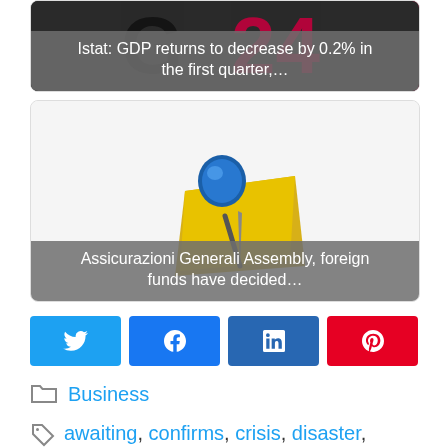[Figure (screenshot): News card with dark/magenta background and logo text, overlaid with caption 'Istat: GDP returns to decrease by 0.2% in the first quarter,...']
Istat: GDP returns to decrease by 0.2% in the first quarter,...
[Figure (illustration): News card with a blue pushpin on yellow sticky note illustration, overlaid with caption 'Assicurazioni Generali Assembly, foreign funds have decided...']
Assicurazioni Generali Assembly, foreign funds have decided...
[Figure (infographic): Social share buttons row: Twitter (blue), Facebook (blue), LinkedIn (dark blue), Pinterest (red)]
Business
awaiting, confirms, crisis, disaster, Istat, Italy, months, perfect, Stagflation, telling